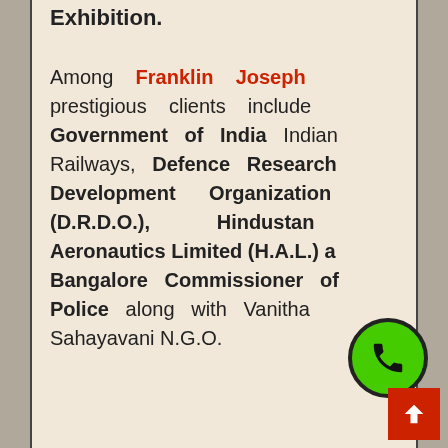Exhibition.
Among Franklin Joseph prestigious clients include Government of India Indian Railways, Defence Research Development Organization (D.R.D.O.), Hindustan Aeronautics Limited (H.A.L.) and Bangalore Commissioner of Police along with Vanitha Sahayavani N.G.O.